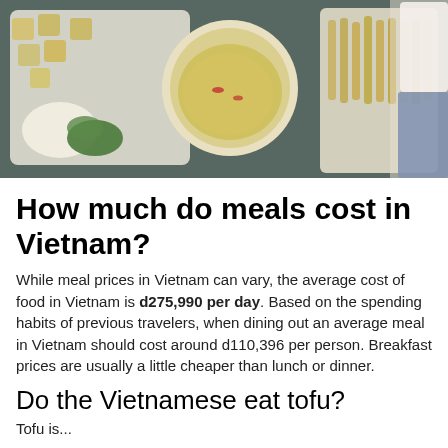[Figure (photo): Overhead view of Vietnamese food including tofu cubes, a bowl of broth/sauce, herbs (cilantro), white rice noodles, and fried/dried food items on a dark surface, with a person in a white top and jeans partially visible on the right side.]
How much do meals cost in Vietnam?
While meal prices in Vietnam can vary, the average cost of food in Vietnam is d275,990 per day. Based on the spending habits of previous travelers, when dining out an average meal in Vietnam should cost around d110,396 per person. Breakfast prices are usually a little cheaper than lunch or dinner.
Do the Vietnamese eat tofu?
Tofu is...